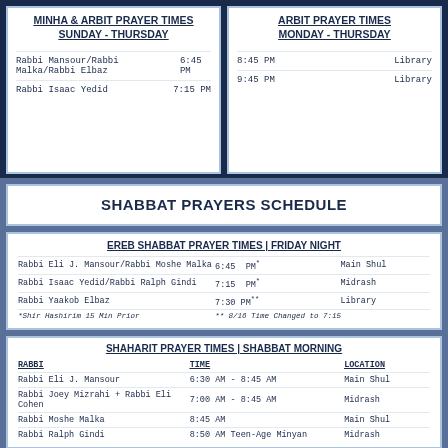| MINHA & ARBIT PRAYER TIMES SUNDAY - THURSDAY | Time |
| --- | --- |
| Rabbi Mansour/Rabbi Malka/Rabbi Elbaz | 6:45 PM |
| Rabbi Isaac Yedid | 7:15 PM |
| ARBIT PRAYER TIMES MONDAY - THURSDAY | Time | Location |
| --- | --- | --- |
| 8:45 PM | Library |
| 9:45 PM | Library |
SHABBAT PRAYERS SCHEDULE
EREB SHABBAT PRAYER TIMES | FRIDAY NIGHT
| Rabbi | Time | Location |
| --- | --- | --- |
| Rabbi Eli J. Mansour/Rabbi Moshe Malka | 6:45 PM* | Main Shul |
| Rabbi Isaac Yedid/Rabbi Ralph Gindi | 7:15 PM* | Midrash |
| Rabbi Yaakob Elbaz | 7:30 PM** | Library |
| *Shir Hashirim 15 Min Prior | ** 8/16 Time Changed to 7:15 |  |
SHAHARIT PRAYER TIMES | SHABBAT MORNING
| RABBI | TIME | LOCATION |
| --- | --- | --- |
| Rabbi Eli J. Mansour | 6:30 AM - 8:45 AM | Main Shul |
| Rabbi Joey Mizrahi + Rabbi Eli Cohen | 7:00 AM - 8:45 AM | Midrash |
| Rabbi Moshe Malka | 8:45 AM | Main Shul |
| Rabbi Ralph Gindi | 8:50 AM Teen-Age Minyan | Midrash |